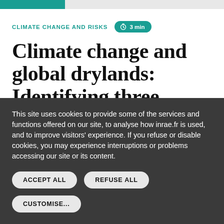CLIMATE CHANGE AND RISKS
Climate change and global drylands: Identifying three
This site uses cookies to provide some of the services and functions offered on our site, to analyse how inrae.fr is used, and to improve visitors' experience. If you refuse or disable cookies, you may experience interruptions or problems accessing our site or its content.
ACCEPT ALL
REFUSE ALL
CUSTOMISE...